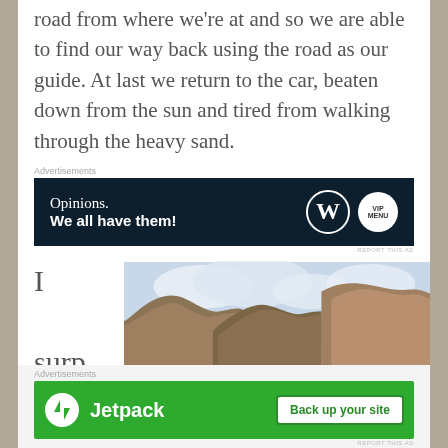road from where we're at and so we are able to find our way back using the road as our guide. At last we return to the car, beaten down from the sun and tired from walking through the heavy sand.
Advertisements
[Figure (screenshot): WordPress VIP advertisement banner: dark navy background with text 'Opinions. We all have them!' and WordPress logo circle and VIP logo circle on the right.]
REPORT THIS AD
I surp rise even
[Figure (photo): Desert canyon landscape photo showing rocky hillsides with sparse vegetation, mountains in background under cloudy sky.]
Advertisements
[Figure (screenshot): Jetpack advertisement banner: green background with Jetpack logo and lightning bolt icon, and a 'Back up your site' white button.]
REPORT THIS AD